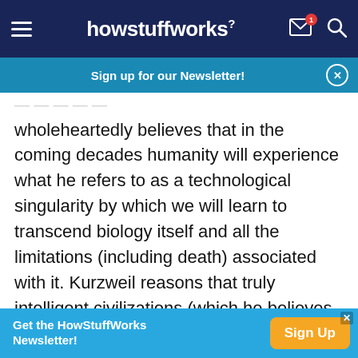howstuffworks
Sign up for our Newsletter!
wholeheartedly believes that in the coming decades humanity will experience what he refers to as a technological singularity by which we will learn to transcend biology itself and all the limitations (including death) associated with it. Kurzweil reasons that truly intelligent civilizations (which he believes humanity to be) are destined to evolve into super-intelligent, possibly machine-based beings whose computational powers grow exponentially.
Get the HowStuffWorks Newsletter! Sign Up